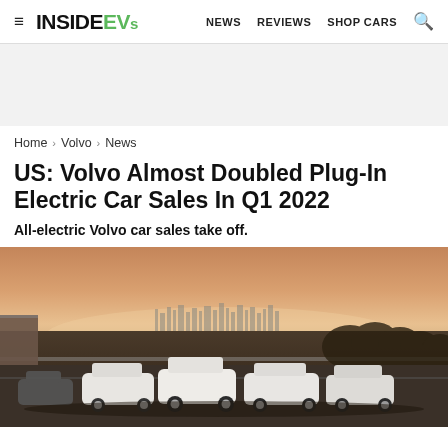InsideEVs — NEWS  REVIEWS  SHOP CARS
Home > Volvo > News
US: Volvo Almost Doubled Plug-In Electric Car Sales In Q1 2022
All-electric Volvo car sales take off.
[Figure (photo): Multiple white Volvo SUVs parked on a road with a city skyline visible in the hazy background at dusk/sunset]